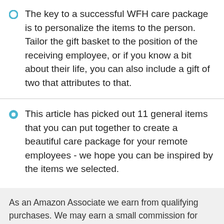The key to a successful WFH care package is to personalize the items to the person. Tailor the gift basket to the position of the receiving employee, or if you know a bit about their life, you can also include a gift of two that attributes to that.
This article has picked out 11 general items that you can put together to create a beautiful care package for your remote employees - we hope you can be inspired by the items we selected.
As an Amazon Associate we earn from qualifying purchases. We may earn a small commission for our endorsement, recommendation, testimonial and/or link to any products or services from this